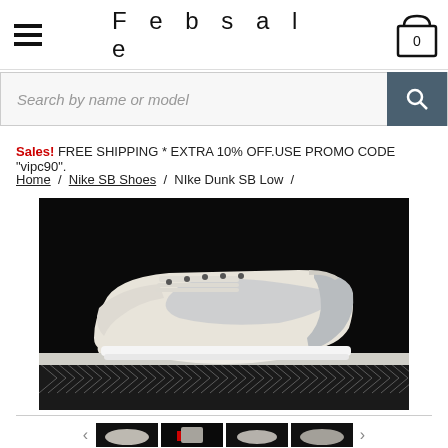Febsale
Search by name or model
Sales! FREE SHIPPING * EXTRA 10% OFF.USE PROMO CODE "vipc90".
Home / Nike SB Shoes / NIke Dunk SB Low /
[Figure (photo): Nike Dunk SB Low sneaker in light grey/cream colorway shown on black background with chain-link fence below]
[Figure (photo): Thumbnail 1 of Nike Dunk SB Low]
[Figure (photo): Thumbnail 2 of Nike Dunk SB Low]
[Figure (photo): Thumbnail 3 of Nike Dunk SB Low]
[Figure (photo): Thumbnail 4 of Nike Dunk SB Low]